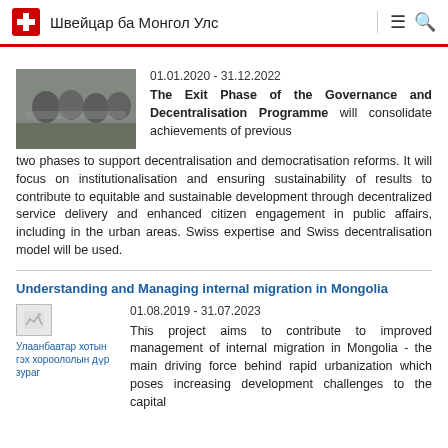Швейцар ба Монгол Улс
01.01.2020 - 31.12.2022
[Figure (photo): Group of people sitting around a table in a meeting or workshop setting]
The Exit Phase of the Governance and Decentralisation Programme will consolidate achievements of previous two phases to support decentralisation and democratisation reforms. It will focus on institutionalisation and ensuring sustainability of results to contribute to equitable and sustainable development through decentralized service delivery and enhanced citizen engagement in public affairs, including in the urban areas. Swiss expertise and Swiss decentralisation model will be used.
Understanding and Managing internal migration in Mongolia
01.08.2019 - 31.07.2023
[Figure (photo): Улаанбаатар хотын гэх хороололын дүр зураг - broken image placeholder]
This project aims to contribute to improved management of internal migration in Mongolia - the main driving force behind rapid urbanization which poses increasing development challenges to the capital